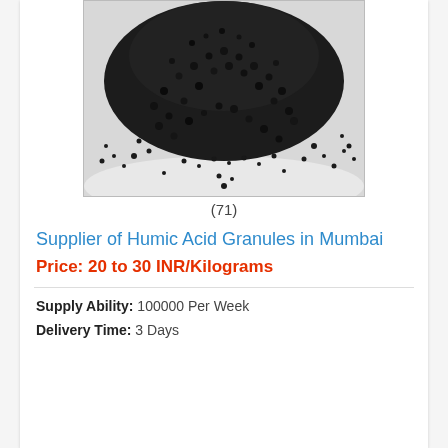[Figure (photo): Close-up photo of black humic acid granules/pellets scattered on a white surface, forming a mound shape]
(71)
Supplier of Humic Acid Granules in Mumbai
Price: 20 to 30 INR/Kilograms
Supply Ability: 100000 Per Week
Delivery Time: 3 Days